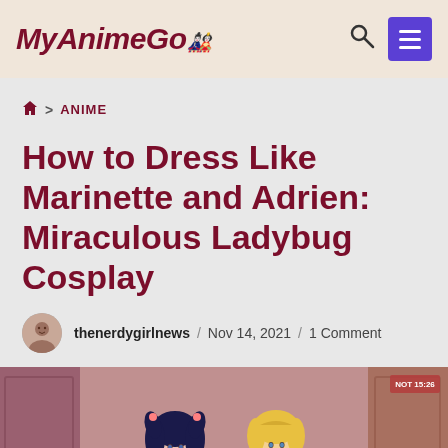MyAnimeGo
🏠 > ANIME
How to Dress Like Marinette and Adrien: Miraculous Ladybug Cosplay
thenerdygirlnews / Nov 14, 2021 / 1 Comment
[Figure (illustration): Animated characters Marinette (dark blue hair) and Adrien facing each other, from Miraculous Ladybug, against a mauve/pink background]